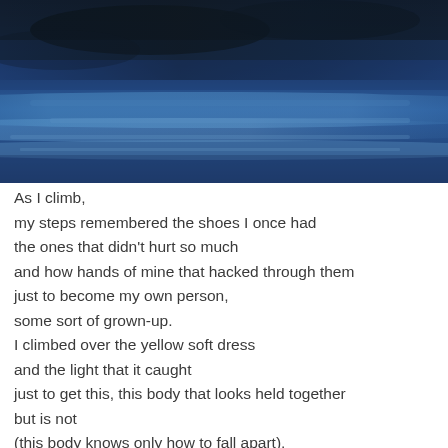[Figure (illustration): Abstract blue watercolor/paint texture with dark blue and grey tones, horizontal brushstroke patterns suggesting sky or clouds]
As I climb,
my steps remembered the shoes I once had
the ones that didn't hurt so much
and how hands of mine that hacked through them
just to become my own person,
some sort of grown-up.
I climbed over the yellow soft dress
and the light that it caught
just to get this, this body that looks held together
but is not
(this body knows only how to fall apart),